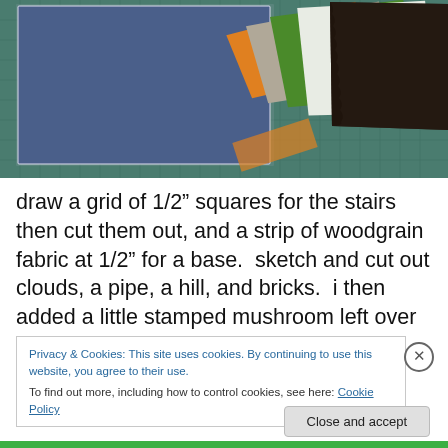[Figure (photo): Photograph of a teal cutting mat with a large blue fabric piece and multiple colorful fabric swatches (orange, tan/grey, green, white, dark brown) arranged on the right side.]
draw a grid of 1/2" squares for the stairs then cut them out, and a strip of woodgrain fabric at 1/2" for a base.  sketch and cut out clouds, a pipe, a hill, and bricks.  i then added a little stamped mushroom left over from one of my project
Privacy & Cookies: This site uses cookies. By continuing to use this website, you agree to their use.
To find out more, including how to control cookies, see here: Cookie Policy
Close and accept